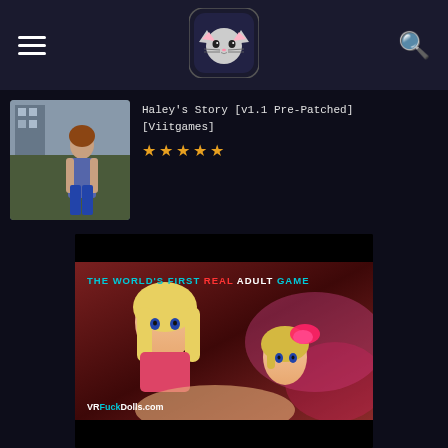Navigation bar with hamburger menu, cat logo, and search icon
Haley's Story [v1.1 Pre-Patched] [Viitgames] ★★★★★
[Figure (photo): Thumbnail of a woman in urban outdoor setting]
[Figure (photo): Advertisement banner for VRFuckDolls.com showing animated characters with text 'THE WORLD'S FIRST REAL ADULT GAME']
Ads by JuicyAds
SPONSORED CONTENT